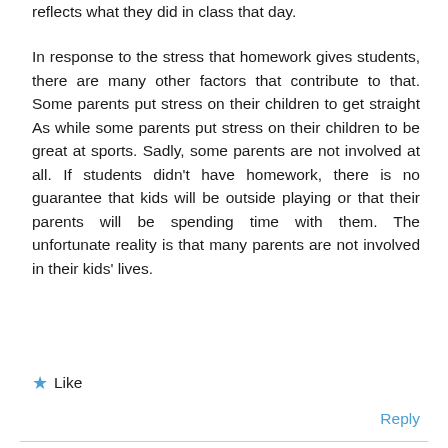reflects what they did in class that day.
In response to the stress that homework gives students, there are many other factors that contribute to that. Some parents put stress on their children to get straight As while some parents put stress on their children to be great at sports. Sadly, some parents are not involved at all. If students didn't have homework, there is no guarantee that kids will be outside playing or that their parents will be spending time with them. The unfortunate reality is that many parents are not involved in their kids' lives.
Like
Reply